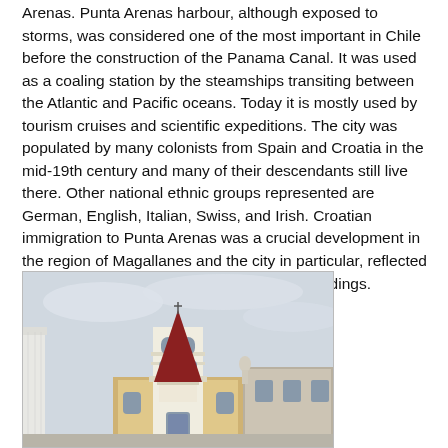Arenas. Punta Arenas harbour, although exposed to storms, was considered one of the most important in Chile before the construction of the Panama Canal. It was used as a coaling station by the steamships transiting between the Atlantic and Pacific oceans. Today it is mostly used by tourism cruises and scientific expeditions. The city was populated by many colonists from Spain and Croatia in the mid-19th century and many of their descendants still live there. Other national ethnic groups represented are German, English, Italian, Swiss, and Irish. Croatian immigration to Punta Arenas was a crucial development in the region of Magallanes and the city in particular, reflected in the names of shops, streets and many buildings.
[Figure (photo): A church or cathedral building with a white bell tower topped with a red pointed spire. The tower has arched windows and ornate detailing. Adjacent buildings are visible, and the sky is overcast/light gray. A partial white column is visible on the left edge.]